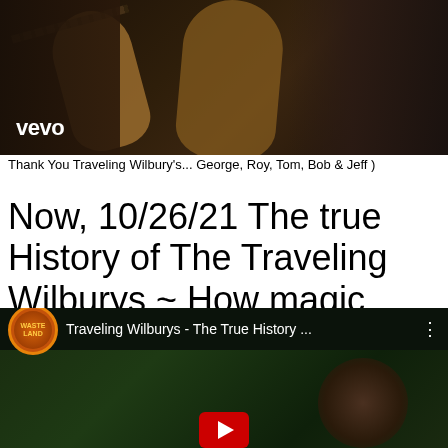[Figure (screenshot): Video thumbnail with Vevo logo showing musicians playing guitars in a dark setting]
Thank You Traveling Wilbury's... George, Roy, Tom, Bob & Jeff )
Now, 10/26/21 The true History of The Traveling Wilburys ~ How magic happens.(Replacement).. )
[Figure (screenshot): YouTube video thumbnail for 'Traveling Wilburys - The True History ...' showing a person against foliage background with play button]